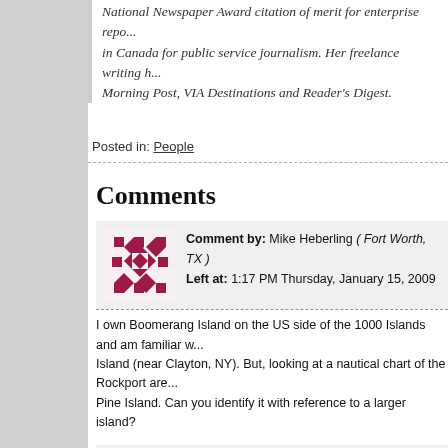National Newspaper Award citation of merit for enterprise reporting in Canada for public service journalism. Her freelance writing Morning Post, VIA Destinations and Reader's Digest.
Posted in: People
Comments
Comment by: Mike Heberling ( Fort Worth, TX ) Left at: 1:17 PM Thursday, January 15, 2009
I own Boomerang Island on the US side of the 1000 Islands and am familiar with Island (near Clayton, NY). But, looking at a nautical chart of the Rockport area Pine Island. Can you identify it with reference to a larger island?
Comment by: Stan Ren ( Rochester, NY ) Left at: 3:44 PM Thursday, January 15, 2009
I read John's book about a year ago when it was loaned to me by the son of a